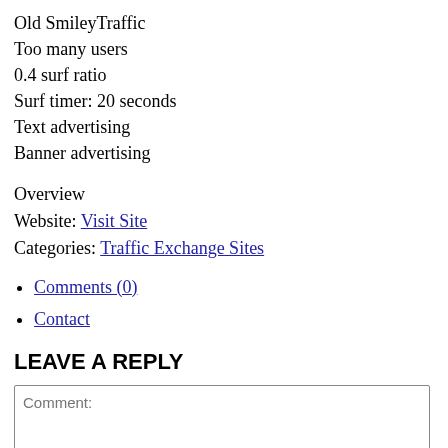Old SmileyTraffic
Too many users
0.4 surf ratio
Surf timer: 20 seconds
Text advertising
Banner advertising
Overview
Website: Visit Site
Categories: Traffic Exchange Sites
Comments (0)
Contact
LEAVE A REPLY
Comment: [textarea placeholder]
Please enter your comment!
Name: [input field]